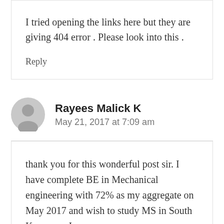I tried opening the links here but they are giving 404 error . Please look into this .
Reply
Rayees Malick K
May 21, 2017 at 7:09 am
thank you for this wonderful post sir. I have complete BE in Mechanical engineering with 72% as my aggregate on May 2017 and wish to study MS in South Korea can I